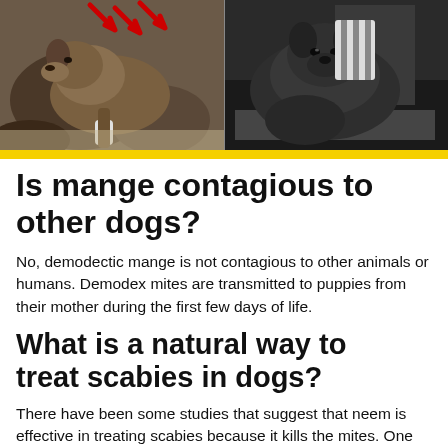[Figure (photo): Two dogs with mange side by side. Left dog is brownish with visible skin condition and red scratch marks overlay. Right dog is darker colored, both appearing ill with skin conditions. Yellow bar separates photo from text below.]
Is mange contagious to other dogs?
No, demodectic mange is not contagious to other animals or humans. Demodex mites are transmitted to puppies from their mother during the first few days of life.
What is a natural way to treat scabies in dogs?
There have been some studies that suggest that neem is effective in treating scabies because it kills the mites. One study tested